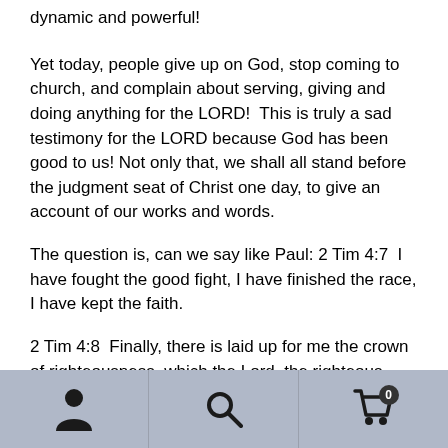dynamic and powerful!
Yet today, people give up on God, stop coming to church, and complain about serving, giving and doing anything for the LORD!  This is truly a sad testimony for the LORD because God has been good to us! Not only that, we shall all stand before the judgment seat of Christ one day, to give an account of our works and words.
The question is, can we say like Paul: 2 Tim 4:7  I have fought the good fight, I have finished the race, I have kept the faith.
2 Tim 4:8  Finally, there is laid up for me the crown of righteousness, which the Lord, the righteous Judge, will
[navigation bar with person, search, and cart icons]